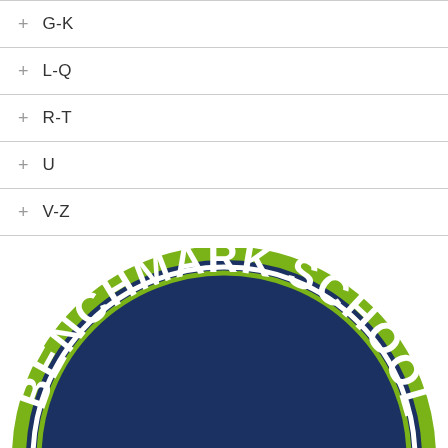+ G-K
+ L-Q
+ R-T
+ U
+ V-Z
[Figure (logo): Benchmark School circular logo — navy blue circle with white and green ring border, white arched text reading 'BENCHMARK SCHOOL']